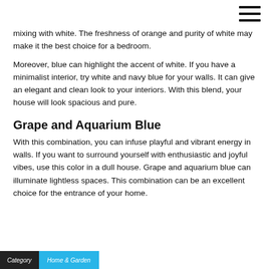mixing with white. The freshness of orange and purity of white may make it the best choice for a bedroom.
Moreover, blue can highlight the accent of white. If you have a minimalist interior, try white and navy blue for your walls. It can give an elegant and clean look to your interiors. With this blend, your house will look spacious and pure.
Grape and Aquarium Blue
With this combination, you can infuse playful and vibrant energy in walls. If you want to surround yourself with enthusiastic and joyful vibes, use this color in a dull house. Grape and aquarium blue can illuminate lightless spaces. This combination can be an excellent choice for the entrance of your home.
Category  Home & Garden